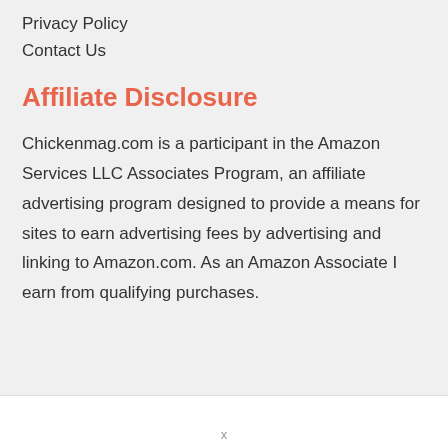Privacy Policy
Contact Us
Affiliate Disclosure
Chickenmag.com is a participant in the Amazon Services LLC Associates Program, an affiliate advertising program designed to provide a means for sites to earn advertising fees by advertising and linking to Amazon.com. As an Amazon Associate I earn from qualifying purchases.